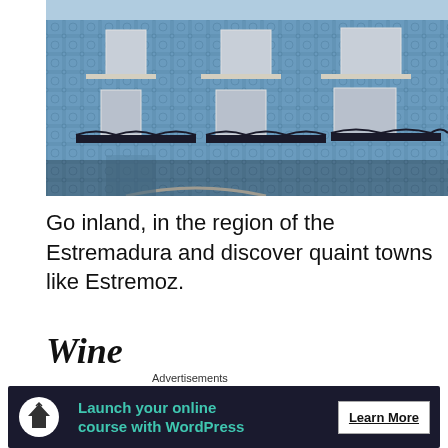[Figure (photo): Blue azulejo tile facade of a Portuguese building with ornate iron balconies and white window frames, viewed from below]
Go inland, in the region of the Estremadura and discover quaint towns like Estremoz.
Wine
[Figure (photo): Dark interior room with arched ceiling, partially visible]
Advertisements
Launch your online course with WordPress
Learn More